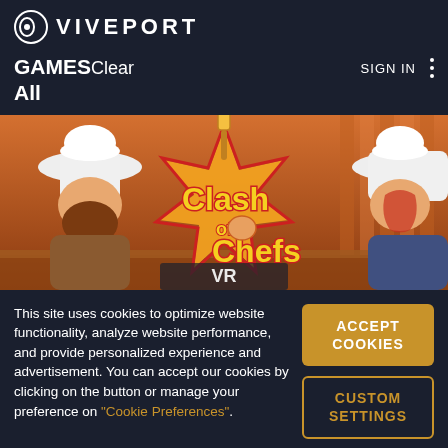VIVEPORT
GAMESClear
All
SIGN IN
[Figure (screenshot): Clash of Chefs VR game banner showing cartoon chef characters with white toques against an orange/red background with the 'Clash of Chefs' logo in stylized text with a microphone/spatula]
This site uses cookies to optimize website functionality, analyze website performance, and provide personalized experience and advertisement. You can accept our cookies by clicking on the button or manage your preference on "Cookie Preferences".
ACCEPT COOKIES
CUSTOM SETTINGS